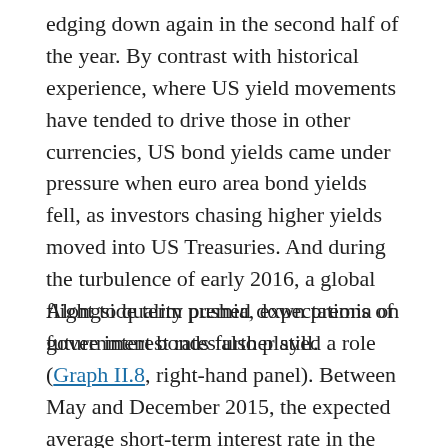edging down again in the second half of the year. By contrast with historical experience, where US yield movements have tended to drive those in other currencies, US bond yields came under pressure when euro area bond yields fell, as investors chasing higher yields moved into US Treasuries. And during the turbulence of early 2016, a global flight to quality pushed down premia on government bonds further still.
Alongside term premia, expectations of future interest rates also played a role (Graph II.8, right-hand panel). Between May and December 2015, the expected average short-term interest rate in the United States over a 10-year period rose some 40 basis points. This rise came to a halt and was partly